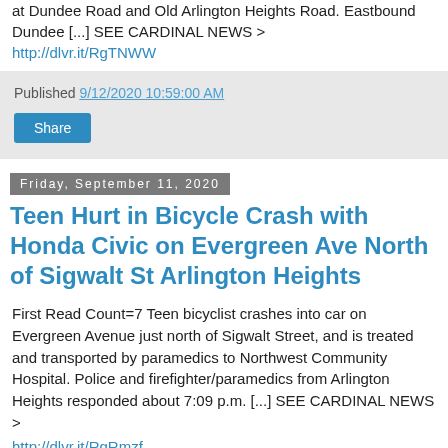at Dundee Road and Old Arlington Heights Road. Eastbound Dundee [...] SEE CARDINAL NEWS > http://dlvr.it/RgTNWW
Published 9/12/2020 10:59:00 AM
Share
Friday, September 11, 2020
Teen Hurt in Bicycle Crash with Honda Civic on Evergreen Ave North of Sigwalt St Arlington Heights
First Read Count=7 Teen bicyclist crashes into car on Evergreen Avenue just north of Sigwalt Street, and is treated and transported by paramedics to Northwest Community Hospital. Police and firefighter/paramedics from Arlington Heights responded about 7:09 p.m. [...] SEE CARDINAL NEWS > http://dlvr.it/RgRmzf